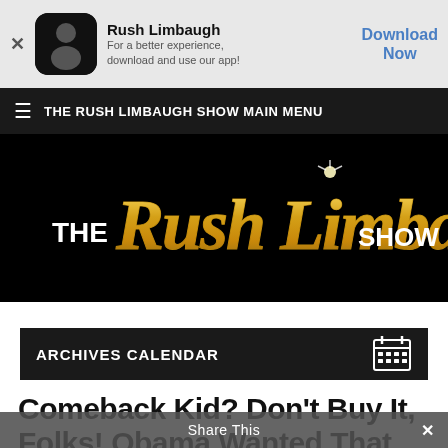[Figure (screenshot): App download banner with Rush Limbaugh app icon showing a man in dark clothes, app name and description, and a blue Download Now button]
THE RUSH LIMBAUGH SHOW MAIN MENU
[Figure (logo): The Rush Limbaugh Show logo in gold cursive script on black background]
ARCHIVES CALENDAR
Comeback Kid? Don't Buy It, Folks! Obama Wanted That